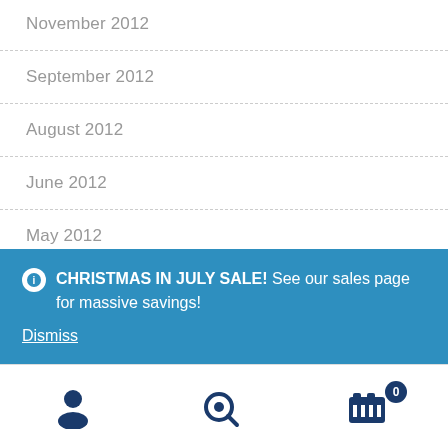November 2012
September 2012
August 2012
June 2012
May 2012
April 2012
CHRISTMAS IN JULY SALE! See our sales page for massive savings!
Dismiss